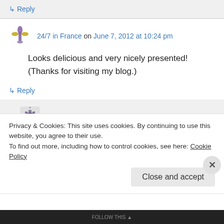↳ Reply
24/7 in France on June 7, 2012 at 10:24 pm
Looks delicious and very nicely presented! (Thanks for visiting my blog.)
↳ Reply
annesturetucker on June 8, 2012 at 10:42 am
Privacy & Cookies: This site uses cookies. By continuing to use this website, you agree to their use.
To find out more, including how to control cookies, see here: Cookie Policy
Close and accept